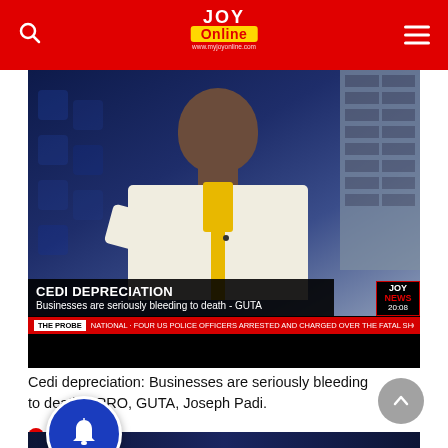JOY Online - www.myjoyonline.com
[Figure (screenshot): TV screenshot from JOY NEWS showing a man in white and yellow traditional attire speaking. Lower third reads 'CEDI DEPRECIATION - Businesses are seriously bleeding to death - GUTA'. Red ticker: 'THE PROBE NATIONAL - FOUR US POLICE OFFICERS ARRESTED AND CHARGED OVER THE FATAL SHOOTING OF'. JOY NEWS bug showing time 20:08.]
Cedi depreciation: Businesses are seriously bleeding to death – PRO, GUTA, Joseph Padi.